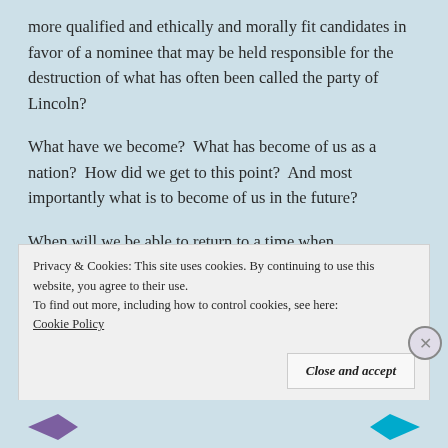more qualified and ethically and morally fit candidates in favor of a nominee that may be held responsible for the destruction of what has often been called the party of Lincoln?
What have we become?  What has become of us as a nation?  How did we get to this point?  And most importantly what is to become of us in the future?
When will we be able to return to a time when,
Privacy & Cookies: This site uses cookies. By continuing to use this website, you agree to their use.
To find out more, including how to control cookies, see here:
Cookie Policy

Close and accept